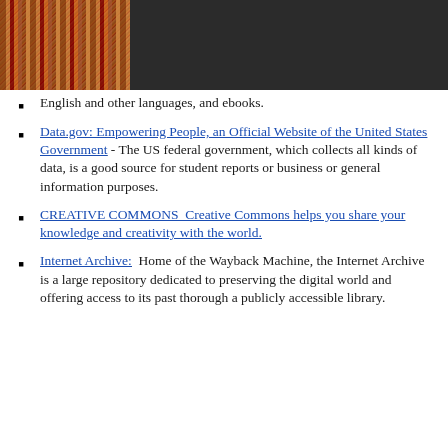[Figure (photo): Header bar with dark background and colorful books photo on the left side]
English and other languages, and ebooks. (truncated/partial item)
Data.gov: Empowering People, an Official Website of the United States Government - The US federal government, which collects all kinds of data, is a good source for student reports or business or general information purposes.
CREATIVE COMMONS  Creative Commons helps you share your knowledge and creativity with the world.
Internet Archive:  Home of the Wayback Machine, the Internet Archive is a large repository dedicated to preserving the digital world and offering access to its past thorough a publicly accessible library.